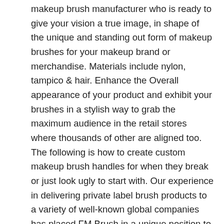makeup brush manufacturer who is ready to give your vision a true image, in shape of the unique and standing out form of makeup brushes for your makeup brand or merchandise. Materials include nylon, tampico & hair. Enhance the Overall appearance of your product and exhibit your brushes in a stylish way to grab the maximum audience in the retail stores where thousands of other are aligned too. The following is how to create custom makeup brush handles for when they break or just look ugly to start with. Our experience in delivering private label brush products to a variety of well-known global companies has placed FM Brush in a unique position to meet a broad range of private label requirements for our clients. I also appreciated the follow up from the company, i received an email after my order was placed that included their ultimate makeup brush guide, as well as an email after i received my brush checking to see that i was satisfied with my purchase from them. Customized